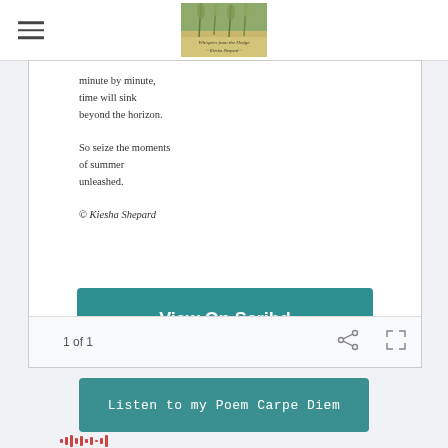[Figure (screenshot): Navigation bar with hamburger menu icon on left and a blog logo image in the center showing Whispers from the Hedge or similar nature blog title]
minute by minute,
time will sink
beyond the horizon.

So seize the moments
of summer
unleashed.

© Kiesha Shepard
[Figure (screenshot): Teal/green button reading 'View On Scribd']
1 of 1
[Figure (screenshot): Teal button reading 'Listen to my Poem Carpe Diem']
[Figure (other): Audio waveform bars at bottom of page]